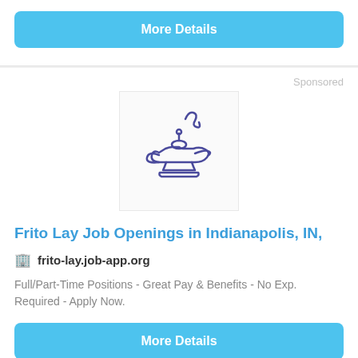More Details
Sponsored
[Figure (illustration): Magic lamp / Aladdin lamp icon in dark blue/purple outline style on a light background]
Frito Lay Job Openings in Indianapolis, IN,
frito-lay.job-app.org
Full/Part-Time Positions - Great Pay & Benefits - No Exp. Required - Apply Now.
More Details